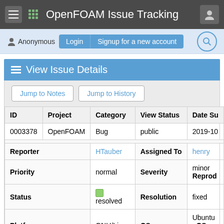OpenFOAM Issue Tracking
Anonymous  Login  Signup for a new account
View Issue Details
Jump to Notes  Jump to History
| ID | Project | Category | View Status | Date Su |
| --- | --- | --- | --- | --- |
| 0003378 | OpenFOAM | Bug | public | 2019-10 |
| Reporter | HTauber | Assigned To | henry |  |
| Priority | normal | Severity | minor | Reprod |
| Status | resolved | Resolution | fixed |  |
| Platform | GNU/Linux | OS | Ubuntu | OS Vers |
| Product Version | dev |  |  |  |
| Fixed in Version | dev |  |  |  |